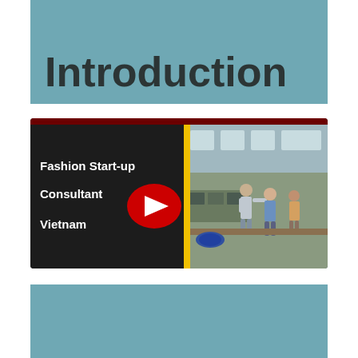Video Introduction
[Figure (screenshot): YouTube video thumbnail for 'Work with a Fashion Start-up...' showing Fashion Start-up Consultant Vietnam text on dark background with YouTube play button, and a photo of people in a factory/workshop on the right side]
[Figure (other): Teal/blue-grey colored box at the bottom of the page, partially visible]